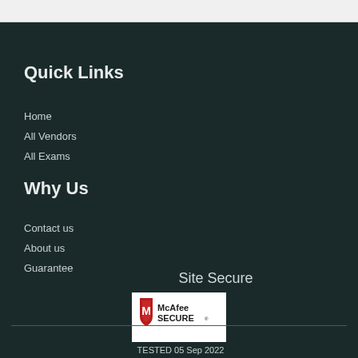Quick Links
Home
All Vendors
All Exams
Why Us
Contact us
About us
Guarantee
Site Secure
[Figure (logo): McAfee SECURE logo — red shield with M, text McAfee SECURE]
TESTED 05 Sep 2022